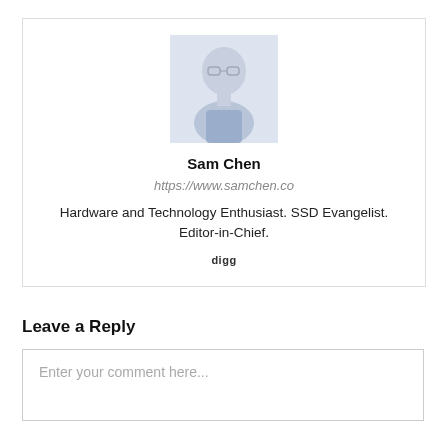[Figure (photo): Portrait photo of Sam Chen, a person wearing glasses and a blue shirt, shown as a small grayscale/faded image in a card]
Sam Chen
https://www.samchen.co
Hardware and Technology Enthusiast. SSD Evangelist. Editor-in-Chief.
digg
Leave a Reply
Enter your comment here...